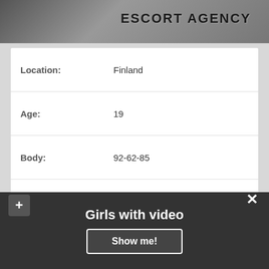[Figure (photo): Top banner image with dark overlay and 'ESCORT AGENCY' text]
| Location: | Finland |
| Age: | 19 |
| Body: | 92-62-85 |
| WEIGHT: | 48 |
| Availability: | 11:00 – 23:00 |
| Couples: | No Problem |
| My Services: | BDSM, Face Sitting, Moresomes |
| Outcall: | +40$ |
| 1H PRICE: | 100$ |
Girls with video
Show me!